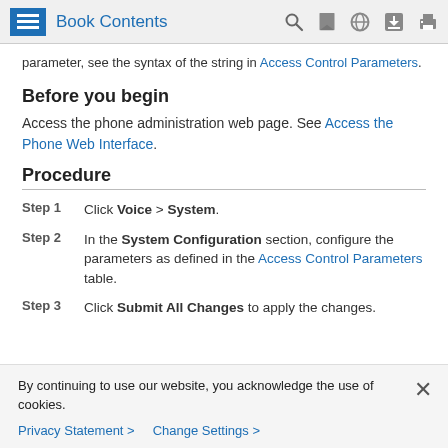Book Contents
parameter, see the syntax of the string in Access Control Parameters.
Before you begin
Access the phone administration web page. See Access the Phone Web Interface.
Procedure
Step 1 Click Voice > System.
Step 2 In the System Configuration section, configure the parameters as defined in the Access Control Parameters table.
Step 3 Click Submit All Changes to apply the changes.
By continuing to use our website, you acknowledge the use of cookies.
Privacy Statement > Change Settings >